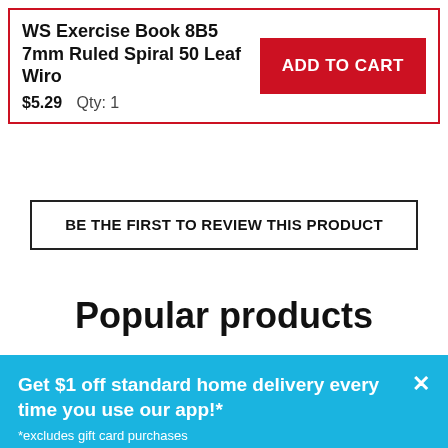WS Exercise Book 8B5 7mm Ruled Spiral 50 Leaf Wiro
$5.29   Qty: 1
ADD TO CART
BE THE FIRST TO REVIEW THIS PRODUCT
Popular products
Get $1 off standard home delivery every time you use our app!*
*excludes gift card purchases
LEARN MORE